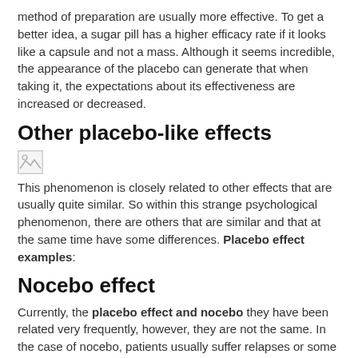method of preparation are usually more effective. To get a better idea, a sugar pill has a higher efficacy rate if it looks like a capsule and not a mass. Although it seems incredible, the appearance of the placebo can generate that when taking it, the expectations about its effectiveness are increased or decreased.
Other placebo-like effects
[Figure (illustration): Small broken/placeholder image icon]
This phenomenon is closely related to other effects that are usually quite similar. So within this strange psychological phenomenon, there are others that are similar and that at the same time have some differences. Placebo effect examples:
Nocebo effect
Currently, the placebo effect and nocebo they have been related very frequently, however, they are not the same. In the case of nocebo, patients usually suffer relapses or some side effect after the administration of a placebo. This is something that cannot be explained, due to the operation and nature of this type of treatment.